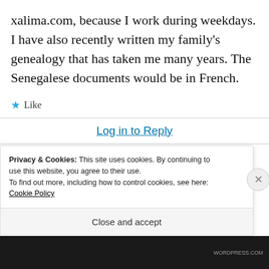xalima.com, because I work during weekdays. I have also recently written my family's genealogy that has taken me many years. The Senegalese documents would be in French.
★ Like
Log in to Reply
[Figure (illustration): Partial view of a purple/magenta avatar icon with diamond pattern]
juran
Privacy & Cookies: This site uses cookies. By continuing to use this website, you agree to their use.
To find out more, including how to control cookies, see here: Cookie Policy
Close and accept